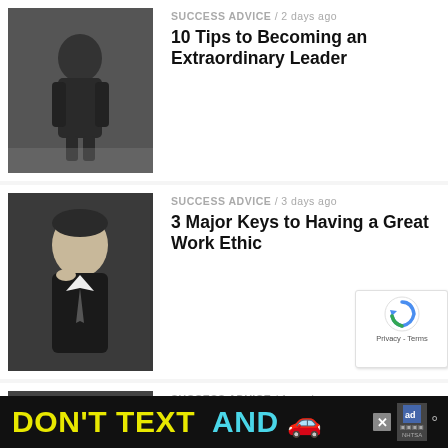[Figure (photo): Black and white photo of person from behind]
SUCCESS ADVICE / 2 days ago
10 Tips to Becoming an Extraordinary Leader
[Figure (photo): Black and white portrait of serious man with hand on chin]
SUCCESS ADVICE / 3 days ago
3 Major Keys to Having a Great Work Ethic
[Figure (photo): Black and white photo of man in suit and tie]
SUCCESS ADVICE / 1 week ago
How To Create Wealth Investing In Real Estate
ADVERTISEMENT
[Figure (photo): Advertisement banner with two people on stage with microphone headsets against blue tech background]
[Figure (photo): Bottom advertisement banner: DON'T TEXT AND (car emoji) with NHTSA ad]
[Figure (other): reCAPTCHA badge with Privacy and Terms links]